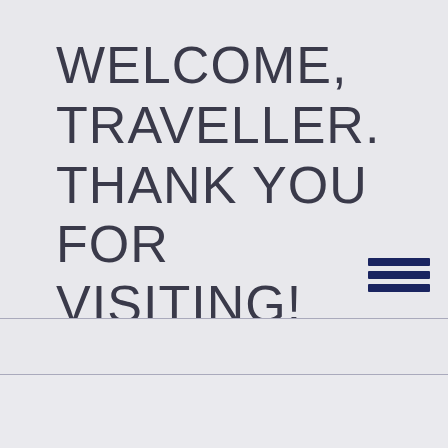WELCOME, TRAVELLER. THANK YOU FOR VISITING! PLEASE LOGIN OR REGISTER.
HOME
RULES
"split up. I have more chance of surviving a